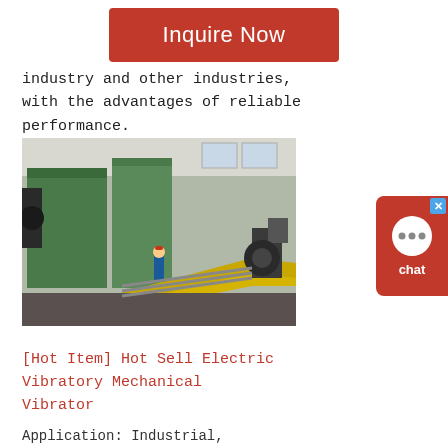[Figure (other): Red 'Inquire Now' button on white background]
industry and other industries, with the advantages of reliable performance.
[Figure (photo): Factory interior showing industrial machinery, green equipment, yellow conveyor tracks, and a worker in blue hard hat on the factory floor.]
[Hot Item] Hot Sell Electric Vibratory Mechanical Vibrator
Application: Industrial, Vibrating Machinery Operating Speed: Adjust Speed Number of Stator: ThreePhase Species: Mve Series Vibration Motors Rotor Structure: Winding Type Casing Protection: Closed Type